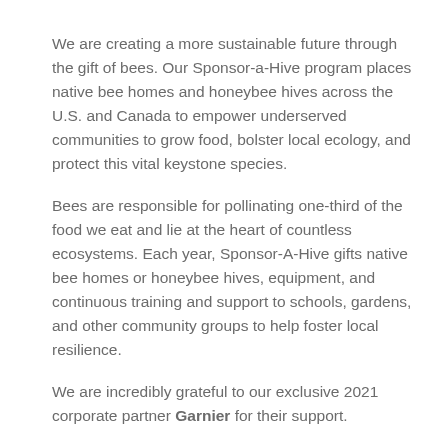We are creating a more sustainable future through the gift of bees. Our Sponsor-a-Hive program places native bee homes and honeybee hives across the U.S. and Canada to empower underserved communities to grow food, bolster local ecology, and protect this vital keystone species.
Bees are responsible for pollinating one-third of the food we eat and lie at the heart of countless ecosystems. Each year, Sponsor-A-Hive gifts native bee homes or honeybee hives, equipment, and continuous training and support to schools, gardens, and other community groups to help foster local resilience.
We are incredibly grateful to our exclusive 2021 corporate partner Garnier for their support.